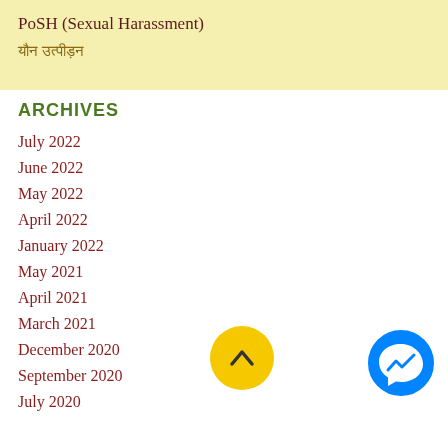PoSH (Sexual Harassment)
यौन उत्पीड़न
ARCHIVES
July 2022
June 2022
May 2022
April 2022
January 2022
May 2021
April 2021
March 2021
December 2020
September 2020
July 2020